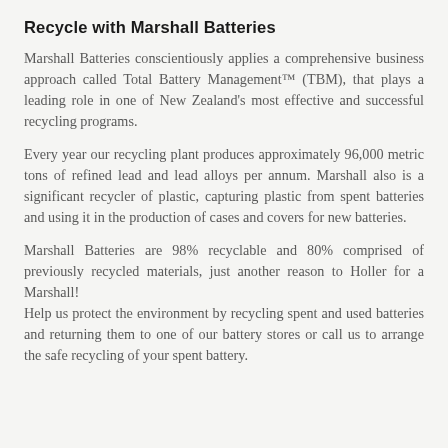Recycle with Marshall Batteries
Marshall Batteries conscientiously applies a comprehensive business approach called Total Battery Management™ (TBM), that plays a leading role in one of New Zealand's most effective and successful recycling programs.
Every year our recycling plant produces approximately 96,000 metric tons of refined lead and lead alloys per annum. Marshall also is a significant recycler of plastic, capturing plastic from spent batteries and using it in the production of cases and covers for new batteries.
Marshall Batteries are 98% recyclable and 80% comprised of previously recycled materials, just another reason to Holler for a Marshall! Help us protect the environment by recycling spent and used batteries and returning them to one of our battery stores or call us to arrange the safe recycling of your spent battery.